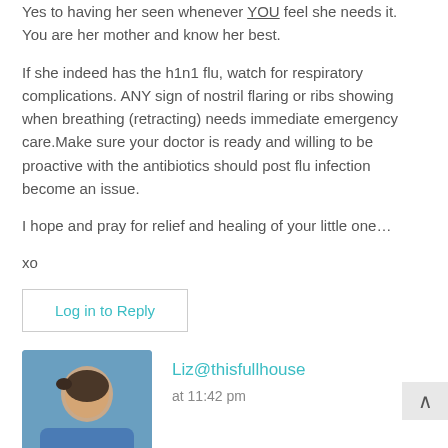Yes to having her seen whenever YOU feel she needs it. You are her mother and know her best.
If she indeed has the h1n1 flu, watch for respiratory complications. ANY sign of nostril flaring or ribs showing when breathing (retracting) needs immediate emergency care.Make sure your doctor is ready and willing to be proactive with the antibiotics should post flu infection become an issue.
I hope and pray for relief and healing of your little one…
xo
Log in to Reply
Liz@thisfullhouse
at 11:42 pm
D'oh, hoping today is better.